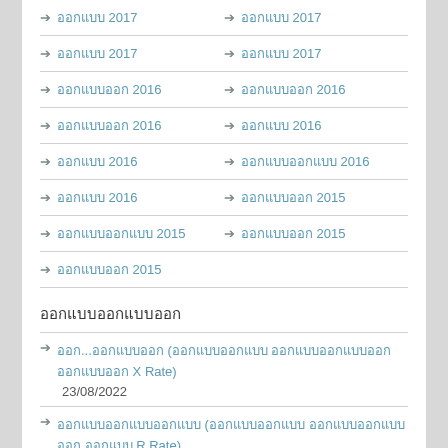ออกแบบ 2017 | ออกแบบ 2017
ออกแบบ 2017 | ออกแบบ 2017
ออกแบบ 2016 | ออกแบบ 2016
ออกแบบ 2016 | ออกแบบ 2016
ออกแบบ 2016 | ออกแบบ 2016
ออกแบบ 2016 | ออกแบบ 2015
ออกแบบ 2015 | ออกแบบ 2015
ออกแบบ 2015
ออกแบบออกแบบออก
ออก...ออกแบบ (ออกแบบออกแบบ ออกแบบออกแบบออก ออกแบบออก X Rate) 23/08/2022
ออกแบบออกแบบออกแบบ (ออกแบบออกแบบ ออกแบบออกแบบออก ออกแบบ R Rate) 23/08/2022
ออกแบบออกแบบออกแบบออกแบบออกแบบออกแบบออกแบบออกแบบออกแบบออกแบบออกแบบออก ออก (ออกแบบออกแบบ ออกแบบออกแบบออก ออกแบบ R Rate)